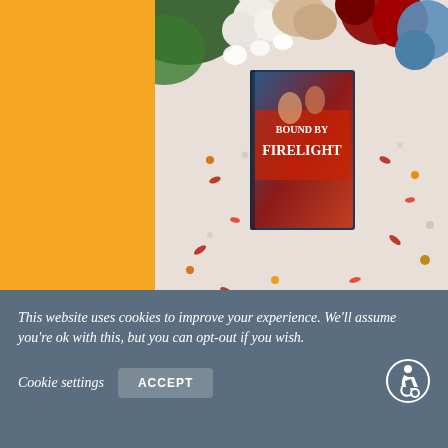[Figure (photo): A photo of a book titled 'Bound by Firelight' lying on a white surface surrounded by colorful flower petals and decorative beads, with flowers in the background including white, red, and blue blooms.]
Load More....
Follow on Instagram
This website uses cookies to improve your experience. We'll assume you're ok with this, but you can opt-out if you wish.
Cookie settings
ACCEPT